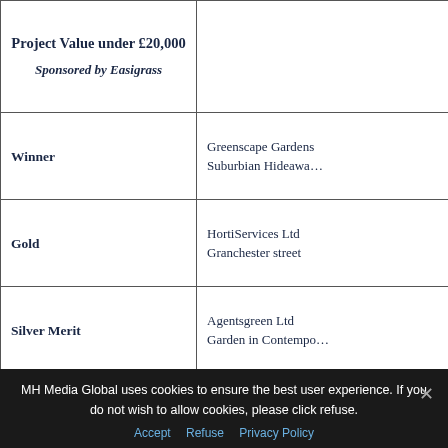| Award | Entry |
| --- | --- |
| Project Value under £20,000

Sponsored by Easigrass |  |
| Winner | Greenscape Gardens
Suburbian Hideawa… |
| Gold | HortiServices Ltd
Granchester street |
| Silver Merit | Agentsgreen Ltd
Garden in Contempo… |
| Silver Merit | Agentsgreen Ltd
Moongate Garden |
| Silver Merit | Frogheath Landscap…
Garden in the Dell |
|  | Greenscape Landsca… |
MH Media Global uses cookies to ensure the best user experience. If you do not wish to allow cookies, please click refuse.